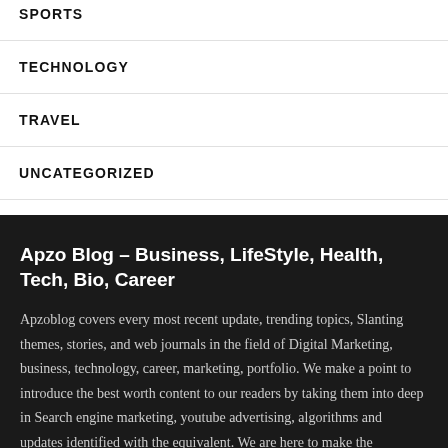SPORTS
TECHNOLOGY
TRAVEL
UNCATEGORIZED
Apzo Blog – Business, LifeStyle, Health, Tech, Bio, Career
Apzoblog covers every most recent update, trending topics, Slanting themes, stories, and web journals in the field of Digital Marketing, business, technology, career, marketing, portfolio. We make a point to introduce the best worth content to our readers by taking them into deep in Search engine marketing, youtube advertising, algorithms and updates identified with the equivalent. We are here to make the experience more straightforward and